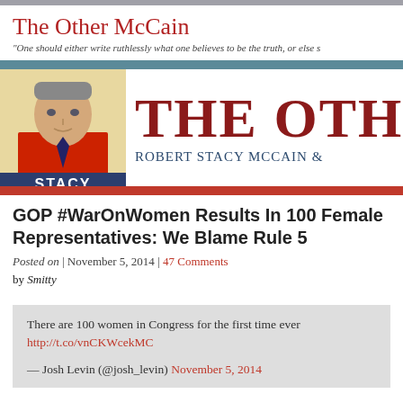The Other McCain
"One should either write ruthlessly what one believes to be the truth, or else s
[Figure (screenshot): The Other McCain blog banner with stylized poster portrait of Stacy and bold red text 'THE OTHER' with subtitle 'Robert Stacy McCain &']
GOP #WarOnWomen Results In 100 Female Representatives: We Blame Rule 5
Posted on | November 5, 2014 | 47 Comments
by Smitty
There are 100 women in Congress for the first time ever
http://t.co/vnCKWcekMC

— Josh Levin (@josh_levin) November 5, 2014